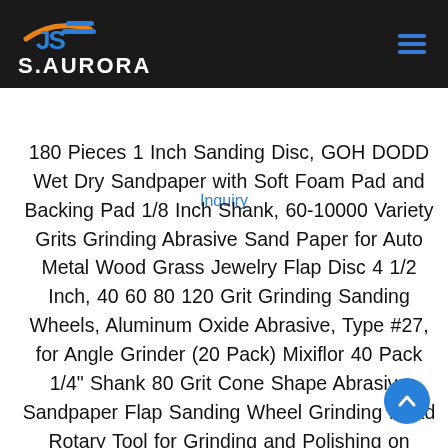S.AURORA
Inquiry
180 Pieces 1 Inch Sanding Disc, GOH DODD Wet Dry Sandpaper with Soft Foam Pad and Backing Pad 1/8 Inch Shank, 60-10000 Variety Grits Grinding Abrasive Sand Paper for Auto Metal Wood Grass Jewelry Flap Disc 4 1/2 Inch, 40 60 80 120 Grit Grinding Sanding Wheels, Aluminum Oxide Abrasive, Type #27, for Angle Grinder (20 Pack) Mixiflor 40 Pack 1/4" Shank 80 Grit Cone Shape Abrasive Sandpaper Flap Sanding Wheel Grinding Head Rotary Tool for Grinding and Polishing on Surface and Side Face Benchmark Abrasives 3" x 1" x 1/4" Shank Mounted High-Quality Resin Bond Aluminum Oxide Flap Wheel 80 Grit – 10 Pack 9 Pack 1/4" Abrasive Flap Wheel Sander Set Pecaris 80 Grit Aluminum Oxide Flap Wheels Cone